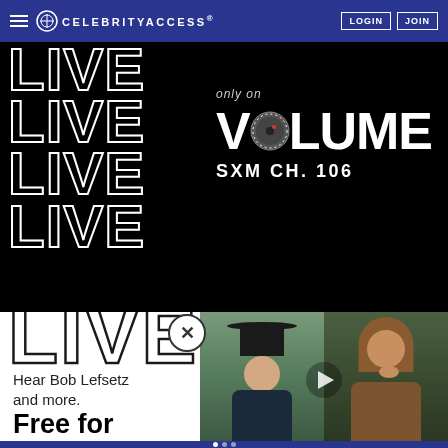CELEBRITYACCESS | LOGIN | JOIN
[Figure (advertisement): SiriusXM Volume CH. 106 advertisement banner showing 'LIVE' text repeated 5 times on black background, with 'only on VOLUME SXM CH. 106' branding on right side]
Hear Bob Lefsetz and more.
Free for 3 months
With new subscription. See Offer Details.
[Figure (photo): Video thumbnail showing two people: man in dark hat on left, woman on right, with play button overlay]